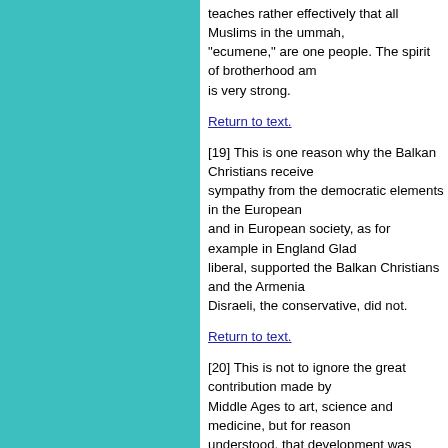teaches rather effectively that all Muslims in the ummah, "ecumene," are one people. The spirit of brotherhood am is very strong.
Return to text.
[19] This is one reason why the Balkan Christians receive sympathy from the democratic elements in the European and in European society, as for example in England Glad liberal, supported the Balkan Christians and the Armenia Disraeli, the conservative, did not.
Return to text.
[20] This is not to ignore the great contribution made by Middle Ages to art, science and medicine, but for reason understood, that development was grossly attenuated in centuries and the Muslim masses were generally not tou modernization.
Return to text.
[21] The rule of Sultan Abdulhamit II was not only author repressive and violent toward his subjects.. The Sultan w being preordained by God and was not responsible any